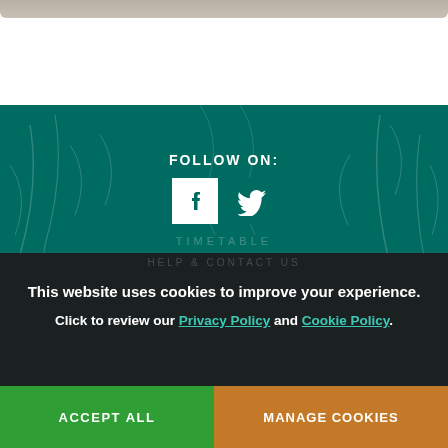[Figure (photo): Partial photo strip at top of page showing a grey/beige background, partially cropped]
FOLLOW ON:
[Figure (illustration): Facebook and Twitter social media icons (white on white square backgrounds) centered on teal background]
This website uses cookies to improve your experience.
Click to review our Privacy Policy and Cookie Policy.
ACCEPT ALL
MANAGE COOKIES